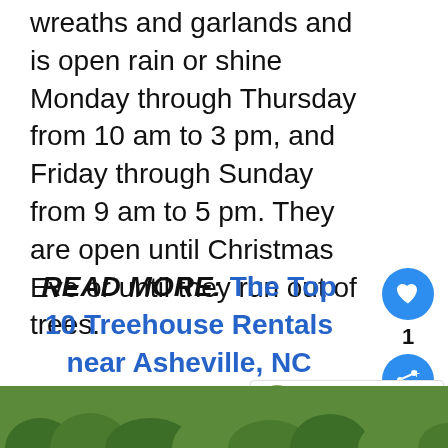The farm also sells Fraser fir wreaths and garlands and is open rain or shine Monday through Thursday from 10 am to 3 pm, and Friday through Sunday from 9 am to 5 pm. They are open until Christmas Eve or until they run out of trees.
READ MORE: The Top 10 Treehouse Rentals near Asheville, NC
[Figure (photo): Aerial or landscape photo of green trees/forest at the bottom of the page]